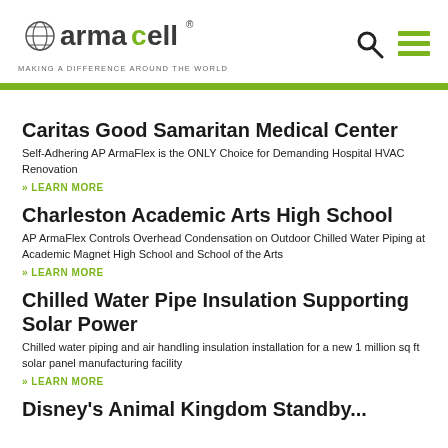[Figure (logo): Armacell logo with globe icon and tagline 'MAKING A DIFFERENCE AROUND THE WORLD']
Caritas Good Samaritan Medical Center
Self-Adhering AP ArmaFlex is the ONLY Choice for Demanding Hospital HVAC Renovation
» LEARN MORE
Charleston Academic Arts High School
AP ArmaFlex Controls Overhead Condensation on Outdoor Chilled Water Piping at Academic Magnet High School and School of the Arts
» LEARN MORE
Chilled Water Pipe Insulation Supporting Solar Power
Chilled water piping and air handling insulation installation for a new 1 million sq ft solar panel manufacturing facility
» LEARN MORE
Disney's Animal Kingdom Standby...